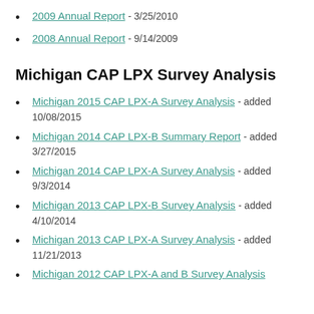2009 Annual Report - 3/25/2010
2008 Annual Report - 9/14/2009
Michigan CAP LPX Survey Analysis
Michigan 2015 CAP LPX-A Survey Analysis - added 10/08/2015
Michigan 2014 CAP LPX-B Summary Report - added 3/27/2015
Michigan 2014 CAP LPX-A Survey Analysis - added 9/3/2014
Michigan 2013 CAP LPX-B Survey Analysis - added 4/10/2014
Michigan 2013 CAP LPX-A Survey Analysis - added 11/21/2013
Michigan 2012 CAP LPX-A and B Survey Analysis